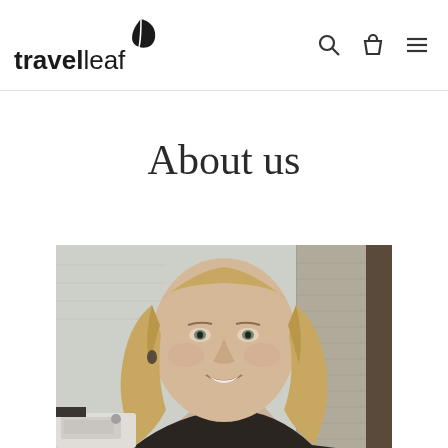travelleaf
About us
[Figure (photo): Portrait photo of a smiling woman with long blonde hair, seated in front of window blinds with a sewing machine visible in the lower left corner. The image is in muted/desaturated tones.]